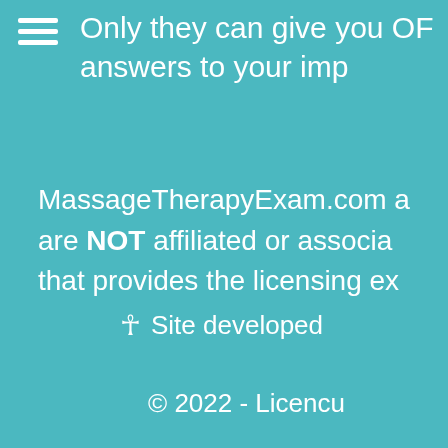[Figure (other): Hamburger menu icon (three horizontal white lines)]
Only they can give you OF answers to your imp
MassageTherapyExam.com a are NOT affiliated or associa that provides the licensing ex
⊕ Site developed
© 2022 - Licencu